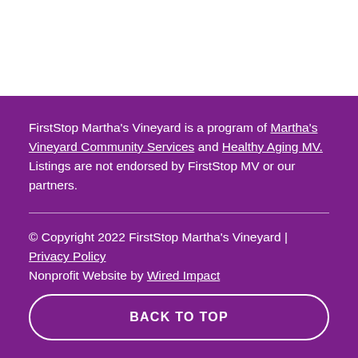FirstStop Martha's Vineyard is a program of Martha's Vineyard Community Services and Healthy Aging MV. Listings are not endorsed by FirstStop MV or our partners.
© Copyright 2022 FirstStop Martha's Vineyard | Privacy Policy
Nonprofit Website by Wired Impact
BACK TO TOP